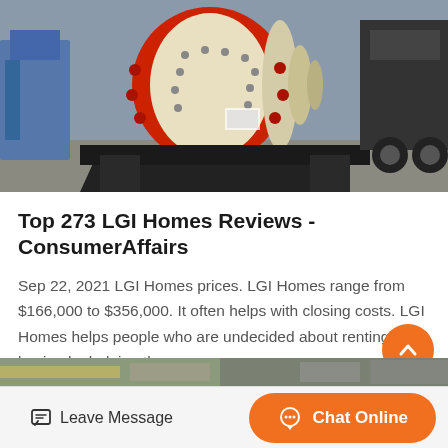[Figure (photo): Industrial ball mill machine — large cylindrical drum with red ring gear, mounted on black steel frame, photographed outdoors in industrial yard with other equipment in background]
Top 273 LGI Homes Reviews - ConsumerAffairs
Sep 22, 2021 LGI Homes prices. LGI Homes range from $166,000 to $356,000. It often helps with closing costs. LGI Homes helps people who are undecided about renting or buying by helping the…
Get Price
[Figure (photo): Partial view of industrial equipment — bottom strip image]
Leave Message
Chat Online